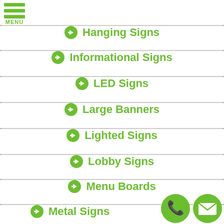[Figure (other): Hamburger menu icon with three green bars and MENU label]
Hanging Signs
Informational Signs
LED Signs
Large Banners
Lighted Signs
Lobby Signs
Menu Boards
Metal Signs
[Figure (other): Phone icon circle (green) and email/envelope icon circle (green) at bottom right]